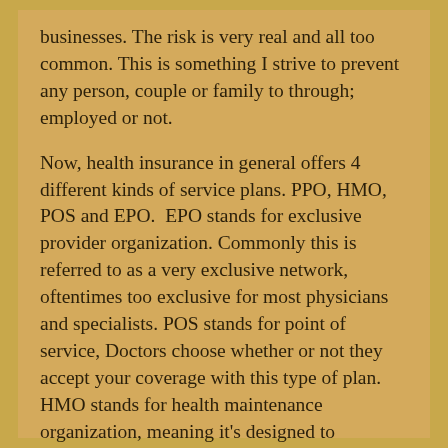businesses. The risk is very real and all too common. This is something I strive to prevent any person, couple or family to through; employed or not.
Now, health insurance in general offers 4 different kinds of service plans. PPO, HMO, POS and EPO.  EPO stands for exclusive provider organization. Commonly this is referred to as a very exclusive network, oftentimes too exclusive for most physicians and specialists. POS stands for point of service, Doctors choose whether or not they accept your coverage with this type of plan. HMO stands for health maintenance organization, meaning it's designed to maintain your health this is county specific. PPO stands for preferred provider organization, this kind of plan makes it easy for you to see specialists as you need to, no referral necessary.